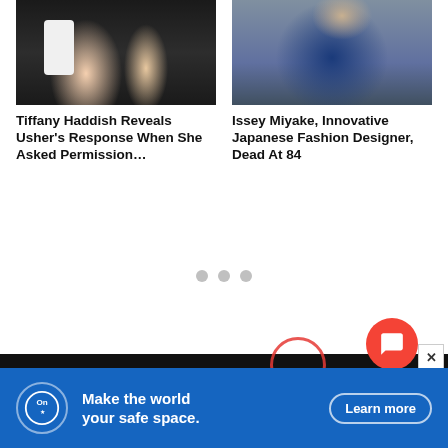[Figure (photo): Photo of a couple at a wedding event, man in white shirt, woman in dark dress holding white flowers, dark background]
Tiffany Haddish Reveals Usher's Response When She Asked Permission…
[Figure (photo): Photo of a person in a blue/dark outfit standing in front of a grey background]
Issey Miyake, Innovative Japanese Fashion Designer, Dead At 84
[Figure (other): Three grey loading dots indicating content loading]
[Figure (infographic): Advertisement banner: OnStar logo circle, text 'Make the world your safe space.', Learn more button, blue background with red circle decoration]